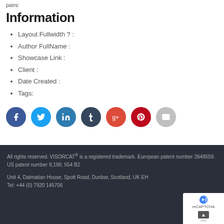pairs:
Information
Layout Fullwidth ? :
Author FullName :
Showcase Link :
Client :
Date Created :
Tags:
[Figure (other): Row of social media share buttons: Facebook (dark blue), Twitter (light blue), LinkedIn (dark teal), Tumblr (dark navy), Google+ (orange-red), Pinterest (dark red), Email (light gray)]
All rights reserved. VISORCAT® is a registered trademark. European patent number 2648559. US patent number 9,198, 554 B2
Unit 4, Dalmatian House, Spott Road, Dunbar, Scotland, UK EH... Tel: +44 (0) 7920 145706